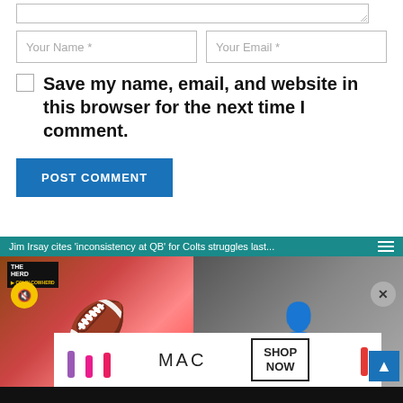[Figure (screenshot): Textarea input box with resize handle in bottom-right corner]
Your Name *
Your Email *
Save my name, email, and website in this browser for the next time I comment.
POST COMMENT
[Figure (screenshot): Video advertisement: Jim Irsay cites inconsistency at QB for Colts struggles last... with MAC cosmetics overlay ad, scroll-to-top button, mute and close buttons]